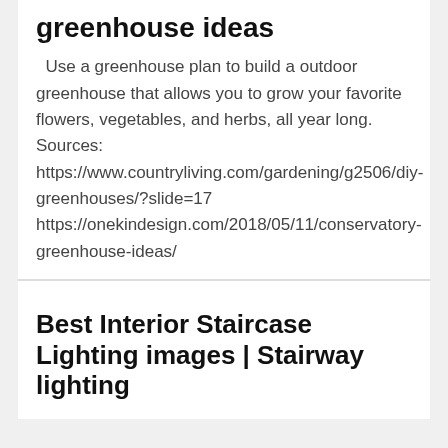greenhouse ideas
Use a greenhouse plan to build a outdoor greenhouse that allows you to grow your favorite flowers, vegetables, and herbs, all year long.        Sources: https://www.countryliving.com/gardening/g2506/diy-greenhouses/?slide=17 https://onekindesign.com/2018/05/11/conservatory-greenhouse-ideas/
Best Interior Staircase Lighting images | Stairway lighting